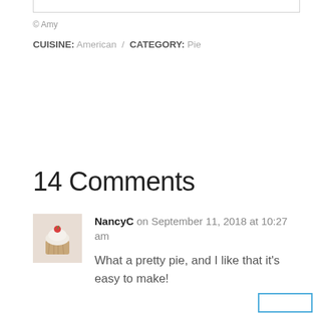© Amy
CUISINE: American / CATEGORY: Pie
14 Comments
NancyC on September 11, 2018 at 10:27 am
What a pretty pie, and I like that it's easy to make!